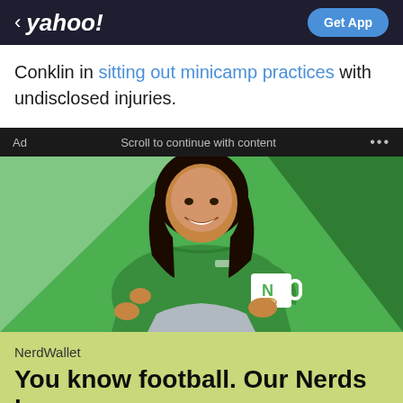< yahoo!   Get App
Conklin in sitting out minicamp practices with undisclosed injuries.
Ad   Scroll to continue with content   ...
[Figure (photo): NerdWallet advertisement photo: A smiling woman in a green blouse holding a white mug with the NerdWallet 'N' logo, against a green geometric background.]
NerdWallet
You know football. Our Nerds know money